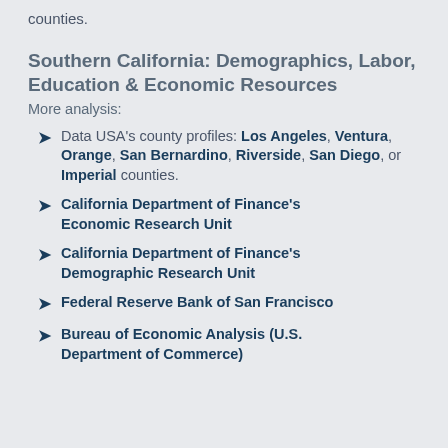counties.
Southern California: Demographics, Labor, Education & Economic Resources
More analysis:
Data USA's county profiles: Los Angeles, Ventura, Orange, San Bernardino, Riverside, San Diego, or Imperial counties.
California Department of Finance's Economic Research Unit
California Department of Finance's Demographic Research Unit
Federal Reserve Bank of San Francisco
Bureau of Economic Analysis (U.S. Department of Commerce)